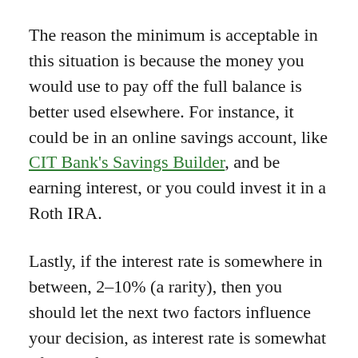The reason the minimum is acceptable in this situation is because the money you would use to pay off the full balance is better used elsewhere. For instance, it could be in an online savings account, like CIT Bank's Savings Builder, and be earning interest, or you could invest it in a Roth IRA.
Lastly, if the interest rate is somewhere in between, 2–10% (a rarity), then you should let the next two factors influence your decision, as interest rate is somewhat of a non-factor at these levels.
2. Total Balance of the Card vs. Your Short-Term Savings